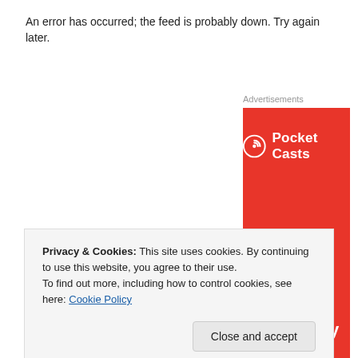An error has occurred; the feed is probably down. Try again later.
Advertisements
[Figure (advertisement): Pocket Casts app advertisement on red background. Shows Pocket Casts logo (icon and text) at top, and tagline 'An app by listeners, for listeners.' in large white bold text at bottom.]
Privacy & Cookies: This site uses cookies. By continuing to use this website, you agree to their use.
To find out more, including how to control cookies, see here: Cookie Policy
Close and accept